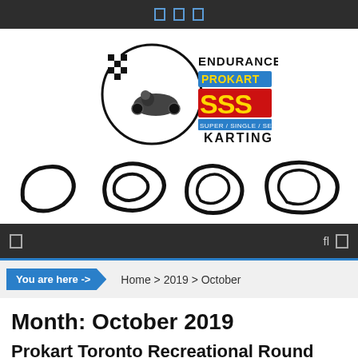[navigation icons]
[Figure (logo): Endurance ProKart SSS Super/Single/Series Karting logo with kart racer and checkered flag]
[Figure (illustration): Four kart track layout silhouettes side by side]
[menu icon] [search icon] [icon]
You are here -> Home > 2019 > October
Month: October 2019
Prokart Toronto Recreational Round 12...